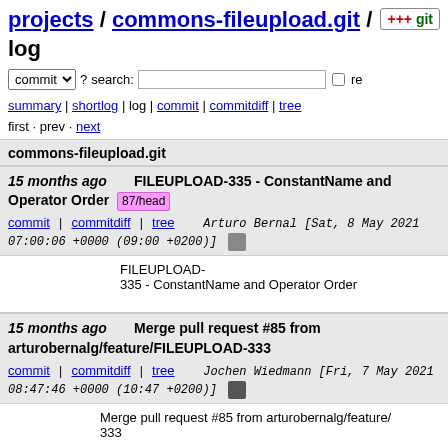projects / commons-fileupload.git / log
commit ▾ ? search: [ ] re
summary | shortlog | log | commit | commitdiff | tree
first · prev · next
commons-fileupload.git
15 months ago   FILEUPLOAD-335 - ConstantName and Operator Order  87/head
commit | commitdiff | tree   Arturo Bernal [Sat, 8 May 2021 07:00:06 +0000 (09:00 +0200)]
FILEUPLOAD-335 - ConstantName and Operator Order
15 months ago   Merge pull request #85 from arturobernalg/feature/FILEUPLOAD-333
commit | commitdiff | tree   Jochen Wiedmann [Fri, 7 May 2021 08:47:46 +0000 (10:47 +0200)]
Merge pull request #85 from arturobernalg/feature/333

FILEUPLOAD-